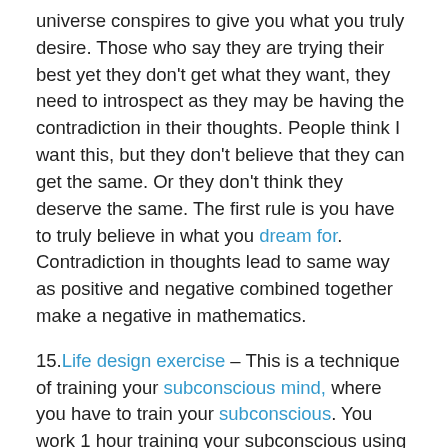universe conspires to give you what you truly desire. Those who say they are trying their best yet they don't get what they want, they need to introspect as they may be having the contradiction in their thoughts. People think I want this, but they don't believe that they can get the same. Or they don't think they deserve the same. The first rule is you have to truly believe in what you dream for. Contradiction in thoughts lead to same way as positive and negative combined together make a negative in mathematics.
15. Life design exercise – This is a technique of training your subconscious mind, where you have to train your subconscious. You work 1 hour training your subconscious using various auto – suggestions, meditations and visualizations. You have to visualize what you desire in present tense and feel it. Regular practice gives great